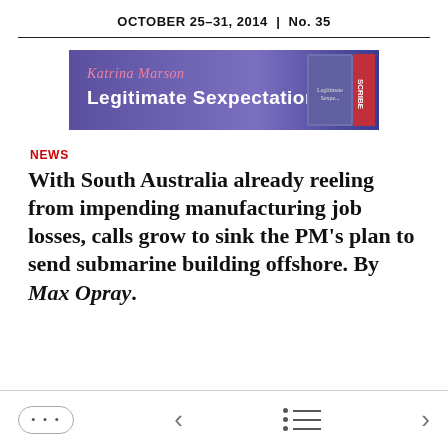OCTOBER 25–31, 2014  |  No. 35
[Figure (illustration): Promotional banner for book 'Legitimate Sexpectations' by Katrina Marson, published by Scribe. Purple/blue gradient background with white bold text and a book cover image on the right.]
NEWS
With South Australia already reeling from impending manufacturing job losses, calls grow to sink the PM's plan to send submarine building offshore. By Max Opray.
... < menu >